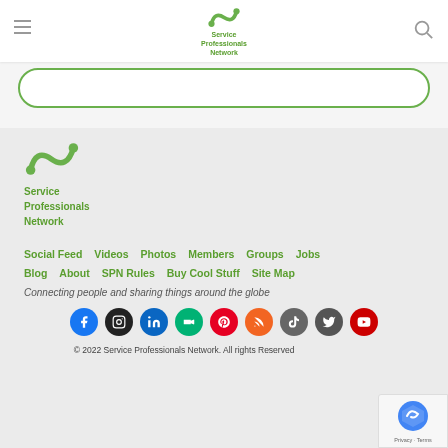Service Professionals Network
[Figure (screenshot): Search box with green rounded border]
[Figure (logo): Service Professionals Network logo in footer - green S-shape icon with text]
Social Feed  Videos  Photos  Members  Groups  Jobs
Blog  About  SPN Rules  Buy Cool Stuff  Site Map
Connecting people and sharing things around the globe
[Figure (infographic): Row of social media icons: Facebook, Instagram, LinkedIn, Meetup, Pinterest, RSS, TikTok, Twitter, YouTube]
© 2022 Service Professionals Network. All rights Reserved